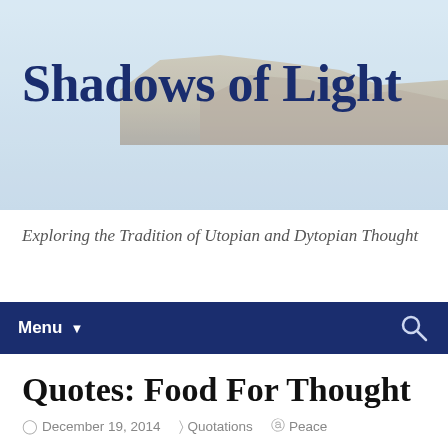[Figure (photo): Website header banner with rocky landscape/cliffs background in muted blue-grey tones with the blog title 'Shadows of Light' overlaid in dark navy bold serif text]
Shadows of Light
Exploring the Tradition of Utopian and Dytopian Thought
Menu ▼
Quotes: Food For Thought
December 19, 2014   Quotations   Peace